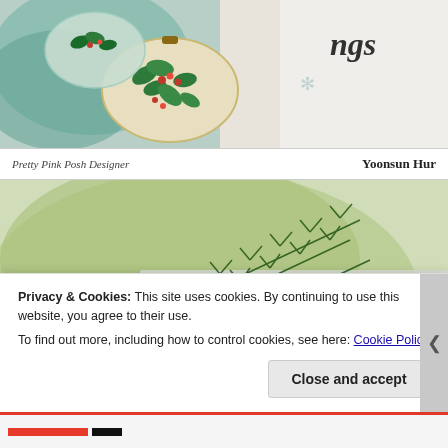[Figure (photo): Close-up of a handmade Christmas card featuring holly leaf ornaments with red berries and green foliage on a cream/white background, with teal watercolor wash and cursive text reading 'ings' visible in upper right.]
Pretty Pink Posh Designer	Yoonsun Hur
[Figure (photo): Close-up of a handmade Christmas card with green pine tree branches on a watercolor green background, and a round ornament decorated with red poinsettia flowers.]
Privacy & Cookies: This site uses cookies. By continuing to use this website, you agree to their use.
To find out more, including how to control cookies, see here: Cookie Policy
Close and accept